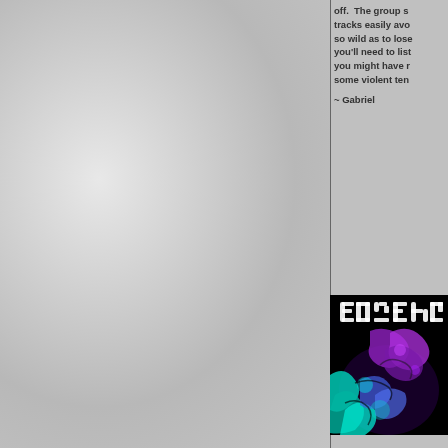[Figure (photo): Textured gray/white concrete or stone wall background occupying the left two-thirds of the page]
off.  The group s... tracks easily avo... so wild as to lose... you'll need to list... you might have r... some violent ten...
~ Gabriel
[Figure (photo): Album cover artwork with black background, white stylized logo text at top reading 'Crystal Circus' or similar, and neon-colored purple, teal, and blue psychedelic creature/monster illustration below]